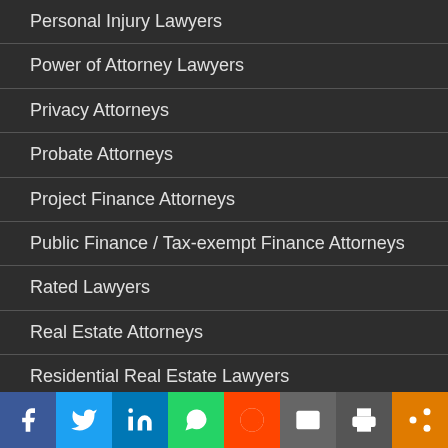Personal Injury Lawyers
Power of Attorney Lawyers
Privacy Attorneys
Probate Attorneys
Project Finance Attorneys
Public Finance / Tax-exempt Finance Attorneys
Rated Lawyers
Real Estate Attorneys
Residential Real Estate Lawyers
Securities / Investment Fraud Attorneys